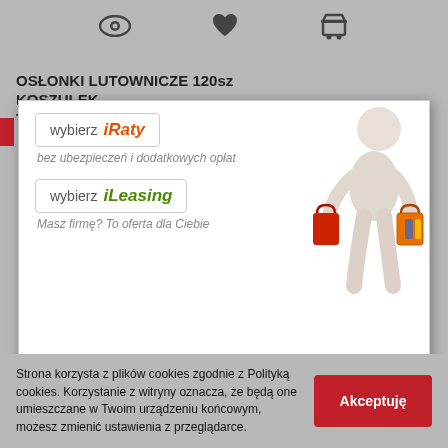[Figure (screenshot): Top navigation icon bar with eye, heart, and shopping cart icons]
OSŁONKI LUTOWNICZE 120sz KOSZULEK TERMOKURCZLIWYCH FT45100
[Figure (screenshot): Popup advertisement for online shopping with iRaty and iLeasing options. Header: WYGODNE ZAKUPY ONLINE. Content: 'wybierz iRaty bez ubezpieczeń i dodatkowych opłat', 'wybierz iLeasing Masz firmę? To oferta dla Ciebie'. Zamknij (close) button. 3D figure carrying shopping bags.]
Strona korzysta z plików cookies zgodnie z Polityką cookies. Korzystanie z witryny oznacza, że będą one umieszczane w Twoim urządzeniu końcowym, możesz zmienić ustawienia z przeglądarce.